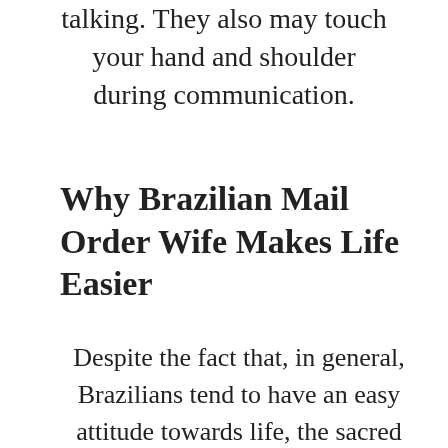talking. They also may touch your hand and shoulder during communication.
Why Brazilian Mail Order Wife Makes Life Easier
Despite the fact that, in general, Brazilians tend to have an easy attitude towards life, the sacred bonds of marriage are respected here and taken seriously. Your wife from Brazil is all about love and